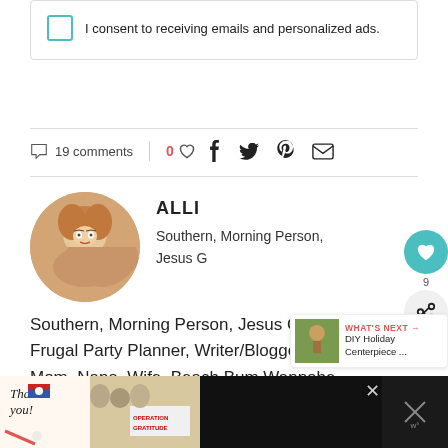I consent to receiving emails and personalized ads.
19 comments | 0 ♥ share icons (facebook, twitter, pinterest, email)
ALLI
Southern, Morning Person, Jesus Girl, Frugal Party Planner, Writer/Blogger, Mom, Nana, Wife, Beach Bum Wannabe - Let's Have a Party!
WHAT'S NEXT → DIY Holiday Centerpiece ...
[Figure (screenshot): Ad banner: Thank you Operation Gratitude with medical workers holding boxes]